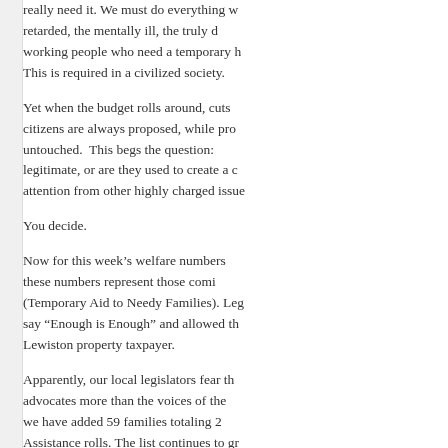really need it. We must do everything w... retarded, the mentally ill, the truly d... working people who need a temporary h... This is required in a civilized society.
Yet when the budget rolls around, cuts... citizens are always proposed, while pro... untouched. This begs the question:... legitimate, or are they used to create a c... attention from other highly charged issue...
You decide.
Now for this week’s welfare numbers... these numbers represent those comi... (Temporary Aid to Needy Families). Leg... say “Enough is Enough” and allowed th... Lewiston property taxpayer.
Apparently, our local legislators fear th... advocates more than the voices of the... we have added 59 families totaling 2... Assistance rolls. The list continues to gr...
Remember in November.
Posted in Columns
2 Responses to “Enoug...